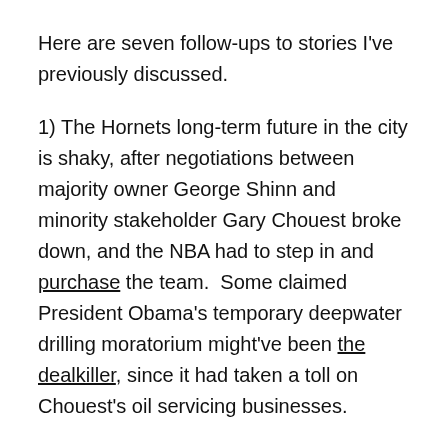Here are seven follow-ups to stories I've previously discussed.
1) The Hornets long-term future in the city is shaky, after negotiations between majority owner George Shinn and minority stakeholder Gary Chouest broke down, and the NBA had to step in and purchase the team.  Some claimed President Obama's temporary deepwater drilling moratorium might've been the dealkiller, since it had taken a toll on Chouest's oil servicing businesses.
CBS Sports said Chicago might be interested in a second basketball team. After all, it's a city with broad shoulders – a stable, big-market location with lots of heart...